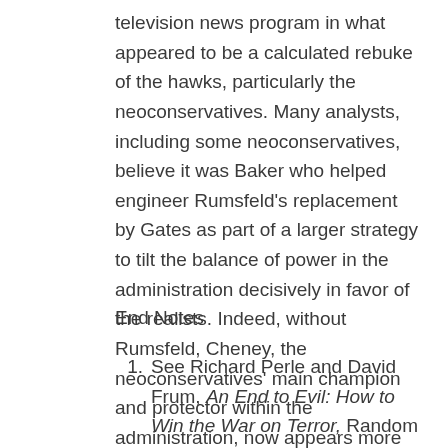television news program in what appeared to be a calculated rebuke of the hawks, particularly the neoconservatives. Many analysts, including some neoconservatives, believe it was Baker who helped engineer Rumsfeld's replacement by Gates as part of a larger strategy to tilt the balance of power in the administration decisively in favor of the realists. Indeed, without Rumsfeld, Cheney, the neoconservatives' main champion and protector within the administration, now appears more isolated than ever.
End Notes
See Richard Perle and David Frum, An End to Evil: How to Win the War on Terror, Random House, 2003.